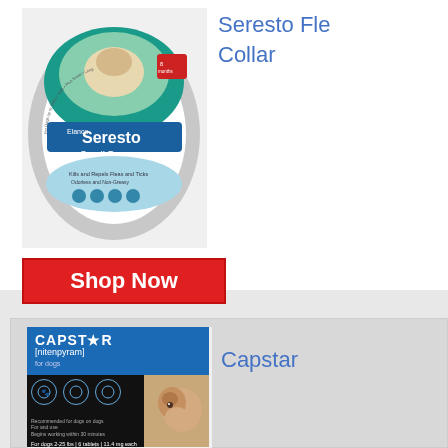[Figure (photo): Seresto Small Dog flea and tick collar product image — circular white collar packaging with teal and blue design, small dog photo at top]
Seresto Fle Collar
Shop Now
[Figure (photo): Capstar (nitenpyram) flea treatment product box — blue header with product name, black lower section with icons and small dog photo]
Capstar